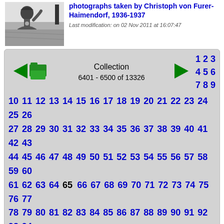[Figure (photo): Black and white photograph of a person, likely taken by Christoph von Furer-Haimendorf, 1936-1937]
photographs taken by Christoph von Furer-Haimendorf, 1936-1937
Last modification: on 02 Nov 2011 at 16:07:47
Collection 6401 - 6500 of 13326
1 2 3 4 5 6 7 8 9 10 11 12 13 14 15 16 17 18 19 20 21 22 23 24 25 26 27 28 29 30 31 32 33 34 35 36 37 38 39 40 41 42 43 44 45 46 47 48 49 50 51 52 53 54 55 56 57 58 59 60 61 62 63 64 65 66 67 68 69 70 71 72 73 74 75 76 77 78 79 80 81 82 83 84 85 86 87 88 89 90 91 92 93 94 95 96 97 98 99 100 101 102 103 104 105 106 107 108 109 110 111 112 113 114 115 116 117 118 119 120 121 122 123 124 125 126 127 128 129 130 131 132 133 134